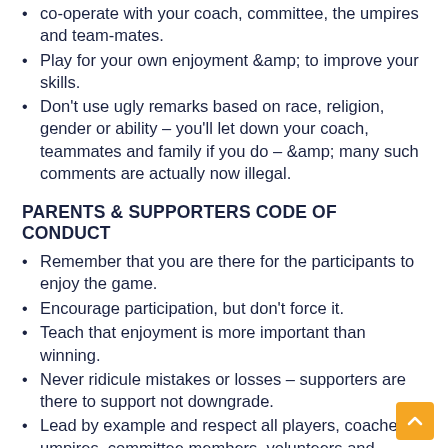co-operate with your coach, committee, the umpires and team-mates.
Play for your own enjoyment &amp; to improve your skills.
Don't use ugly remarks based on race, religion, gender or ability – you'll let down your coach, teammates and family if you do – &amp; many such comments are actually now illegal.
PARENTS & SUPPORTERS CODE OF CONDUCT
Remember that you are there for the participants to enjoy the game.
Encourage participation, but don't force it.
Teach that enjoyment is more important than winning.
Never ridicule mistakes or losses – supporters are there to support not downgrade.
Lead by example and respect all players, coaches, umpires, committee members, volunteers and